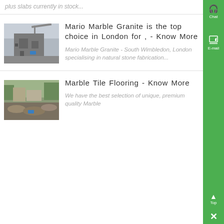plus slabs currently in stock...
[Figure (photo): Industrial machinery / quarry equipment photo]
Mario Marble Granite is the top choice in London for , - Know More
Mario Marble Granite - South Wimbledon, London specialising in natural stone fabrication...
[Figure (photo): Construction site / marble/stone yard photo]
Marble Tile Flooring - Know More
We have the best selection of unique, premium quality Marble